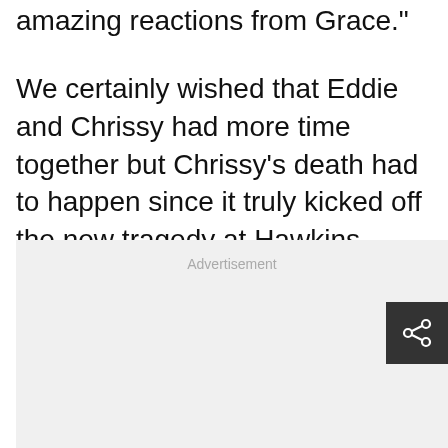amazing reactions from Grace."
We certainly wished that Eddie and Chrissy had more time together but Chrissy’s death had to happen since it truly kicked off the new tragedy at Hawkins.
[Figure (other): Advertisement placeholder box with light gray background and 'Advertisement' label text in gray]